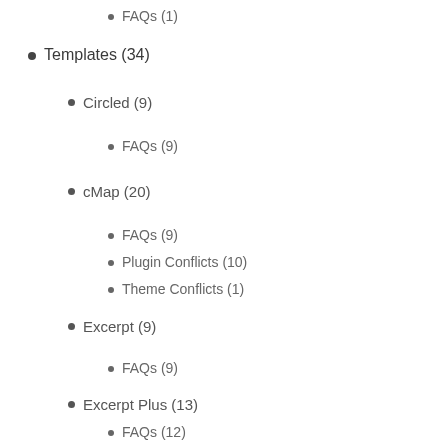FAQs (1)
Templates (34)
Circled (9)
FAQs (9)
cMap (20)
FAQs (9)
Plugin Conflicts (10)
Theme Conflicts (1)
Excerpt (9)
FAQs (9)
Excerpt Plus (13)
FAQs (12)
Plugin Conflicts (1)